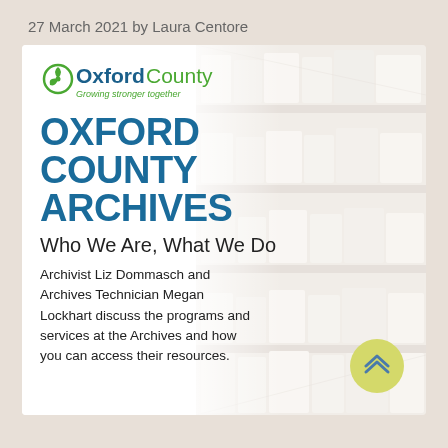27 March 2021 by Laura Centore
[Figure (logo): Oxford County logo with green leaf icon, 'Oxford' in dark blue bold, 'County' in green, tagline 'Growing stronger together' in green italic]
OXFORD COUNTY ARCHIVES
Who We Are, What We Do
Archivist Liz Dommasch and Archives Technician Megan Lockhart discuss the programs and services at the Archives and how you can access their resources.
[Figure (photo): Background photo of archive shelves with white boxes and folders, faded/watermarked appearance]